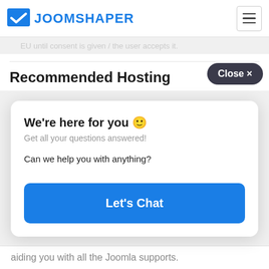These types of cookies require the active consent of
[Figure (logo): JoomShaper logo with blue checkmark icon and blue text]
EU until consent is given / the user accepts it.
Recommended Hosting
Close ×
We're here for you 🙂
Get all your questions answered!
Can we help you with anything?
Let's Chat
aiding you with all the Joomla supports.